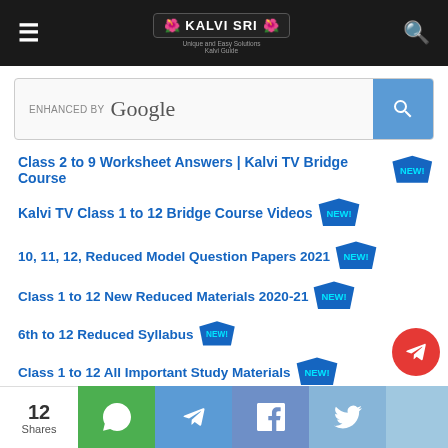KALVI SRI
[Figure (screenshot): Google enhanced search bar with blue search button]
Class 2 to 9 Worksheet Answers | Kalvi TV Bridge Course
Kalvi TV Class 1 to 12 Bridge Course Videos
10, 11, 12, Reduced Model Question Papers 2021
Class 1 to 12 New Reduced Materials 2020-21
6th to 12 Reduced Syllabus
Class 1 to 12 All Important Study Materials
Samacheer Kalvi Guide
Free Online Test
Download TN Text Book Class 1 to 12
12 Shares